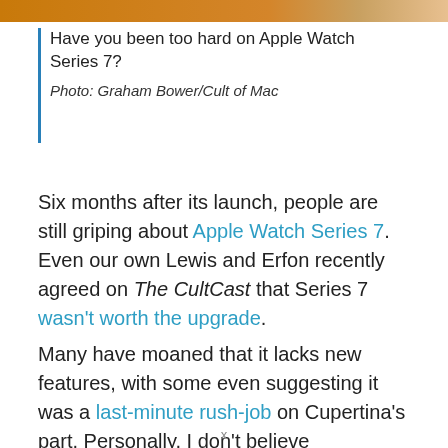[Figure (other): Orange gradient decorative top bar]
Have you been too hard on Apple Watch Series 7?
Photo: Graham Bower/Cult of Mac
Six months after its launch, people are still griping about Apple Watch Series 7. Even our own Lewis and Erfon recently agreed on The CultCast that Series 7 wasn't worth the upgrade.
Many have moaned that it lacks new features, with some even suggesting it was a last-minute rush-job on Cupertina's part. Personally, I don't believe